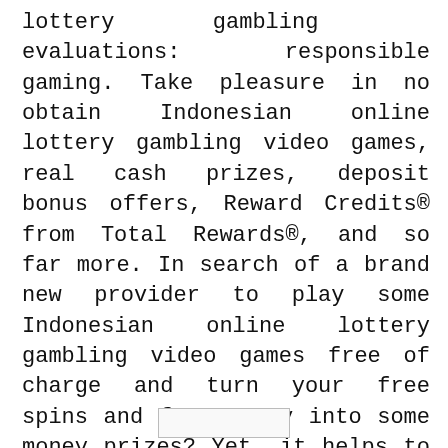lottery gambling evaluations: responsible gaming. Take pleasure in no obtain Indonesian online lottery gambling video games, real cash prizes, deposit bonus offers, Reward Credits® from Total Rewards®, and so far more. In search of a brand new provider to play some Indonesian online lottery gambling video games free of charge and turn your free spins and free money into some money prizes? Yet, it helps to know that if you play for actual cash, luck plays the largest function.